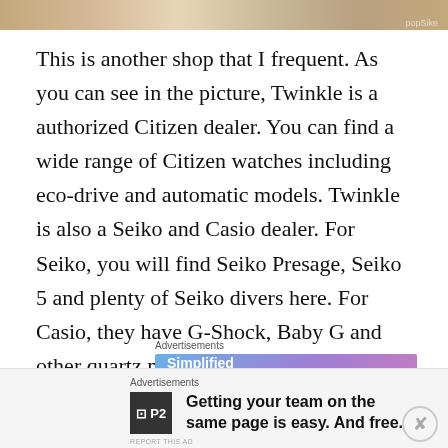[Figure (photo): Top portion of image showing a patterned rug or textile with diamond shapes, with 'popSike' watermark visible at top right]
This is another shop that I frequent. As you can see in the picture, Twinkle is a authorized Citizen dealer. You can find a wide range of Citizen watches including eco-drive and automatic models. Twinkle is also a Seiko and Casio dealer. For Seiko, you will find Seiko Presage, Seiko 5 and plenty of Seiko divers here. For Casio, they have G-Shock, Baby G and other quartz models.
[Figure (screenshot): WordPress.com advertisement banner: 'Simplified pricing for everything you need.' with WordPress.com logo on gradient blue-pink background]
Location: 1 Park Road, People's Park Complex #02-33,
[Figure (screenshot): P2 advertisement: Getting your team on the same page is easy. And free.]